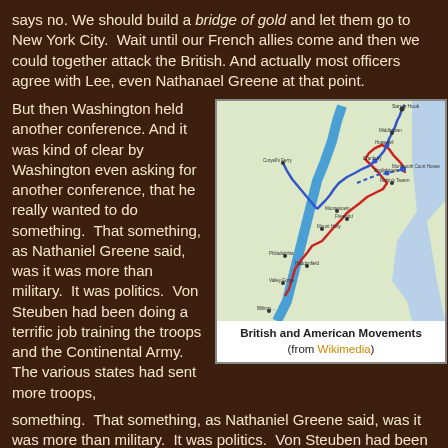says no. We should build a bridge of gold and let them go to New York City.  Wait until our French allies come and then we could together attack the British. And actually most officers agree with Lee, even Nathanael Greene at that point.
But then Washington held another conference. And it was kind of clear by Washington even asking for another conference, that he really wanted to do something.  That something, as Nathaniel Greene said, was it was more than military.  It was politics.  Von Steuben had been doing a terrific job training the troops and the Continental Army. The various states had sent more troops,
[Figure (map): Map showing British and American troop movements. A blue route traces the American (Washington's) movement and a red route traces the British movement through New Jersey, including locations such as Valley Forge, Philadelphia, Haddonfield, Mount Holly, Moorestown, Freehold/Monmouth Court House, Cranbury, Englishtown, Hopewell, Coryell's Ferry, Sandy Hook, and Middletown.]
British and American Movements (from Wikimedia)